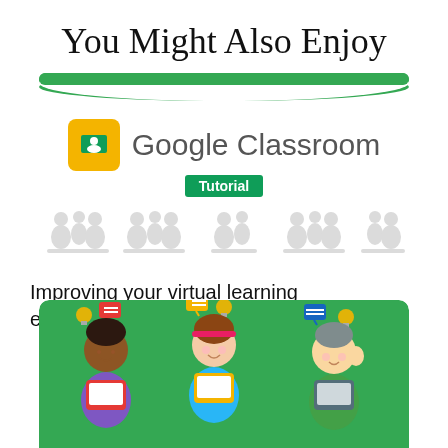You Might Also Enjoy
[Figure (illustration): Green horizontal divider bar with curved bottom edge]
[Figure (logo): Google Classroom logo: yellow rounded square with white chalkboard/people icon, followed by text 'Google Classroom' and green 'Tutorial' badge below]
[Figure (illustration): Row of gray silhouette people/student icons arranged as audience]
Improving your virtual learning environment: A Google Classroom tutorial
[Figure (illustration): Green background card with three cartoon children at desks with lightbulbs and speech bubbles above them]